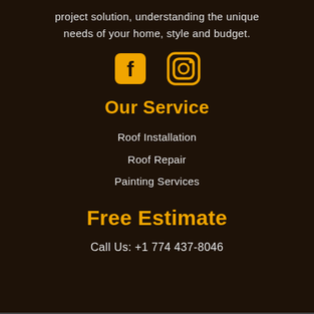project solution, understanding the unique needs of your home, style and budget.
[Figure (illustration): Facebook and Instagram social media icons in golden/amber color on dark brown background]
Our Service
Roof Installation
Roof Repair
Painting Services
Free Estimate
Call Us: +1 774 437-8046